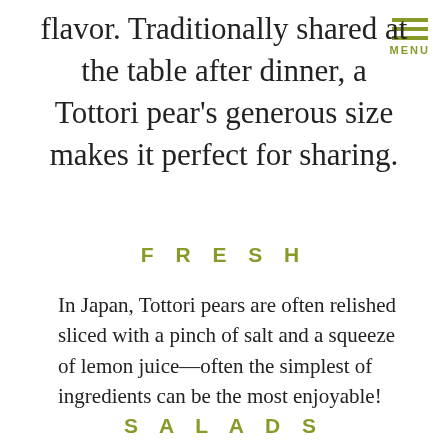flavor. Traditionally shared at the table after dinner, a Tottori pear's generous size makes it perfect for sharing.
MENU
F R E S H
In Japan, Tottori pears are often relished sliced with a pinch of salt and a squeeze of lemon juice—often the simplest of ingredients can be the most enjoyable!
S A L A D S